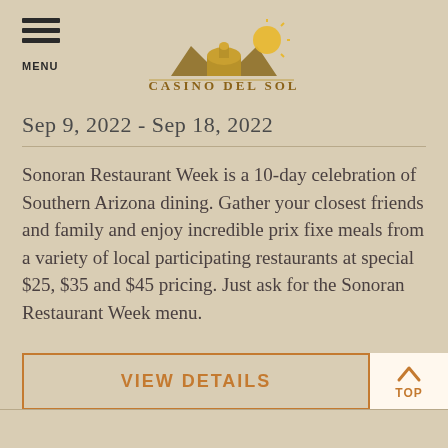[Figure (logo): Casino Del Sol logo with dome building silhouette and sun, with golden text 'CASINO DEL SOL']
Sep 9, 2022 - Sep 18, 2022
Sonoran Restaurant Week is a 10-day celebration of Southern Arizona dining. Gather your closest friends and family and enjoy incredible prix fixe meals from a variety of local participating restaurants at special $25, $35 and $45 pricing. Just ask for the Sonoran Restaurant Week menu.
VIEW DETAILS
TOP